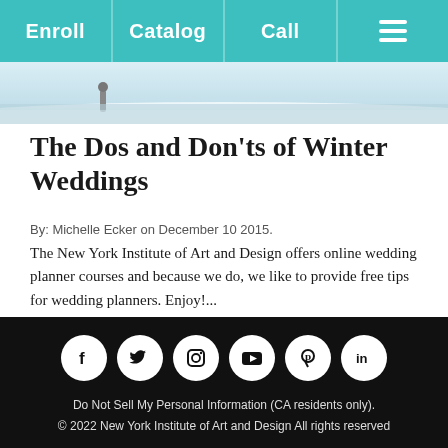Enroll | Catalog | Call
[Figure (photo): Winter wedding scene with snow, partial view of people in winter attire]
The Dos and Don'ts of Winter Weddings
By: Michelle Ecker on December 10 2015.
The New York Institute of Art and Design offers online wedding planner courses and because we do, we like to provide free tips for wedding planners. Enjoy!...
[Figure (infographic): Social media icons row: Facebook, Twitter, Instagram, YouTube, Pinterest, LinkedIn]
Do Not Sell My Personal Information (CA residents only).
© 2022 New York Institute of Art and Design All rights reserved